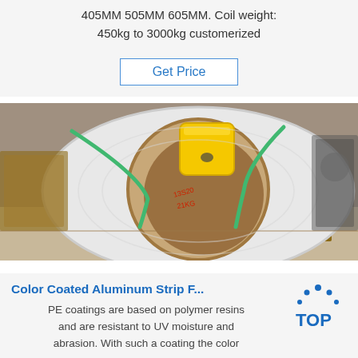405MM 505MM 605MM. Coil weight: 450kg to 3000kg customerized
Get Price
[Figure (photo): A large white aluminum coil resting on wooden supports in an industrial warehouse. A yellow wedge/stopper is visible inside the core of the coil. Green strapping bands are visible around the coil. The inner cardboard core has handwritten markings in red.]
Color Coated Aluminum Strip F...
PE coatings are based on polymer resins and are resistant to UV moisture and abrasion. With such a coating the color